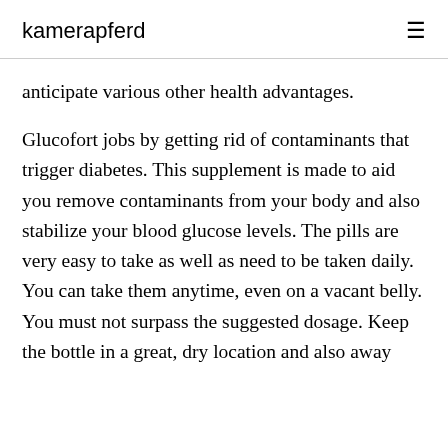kamerapferd
anticipate various other health advantages.

Glucofort jobs by getting rid of contaminants that trigger diabetes. This supplement is made to aid you remove contaminants from your body and also stabilize your blood glucose levels. The pills are very easy to take as well as need to be taken daily. You can take them anytime, even on a vacant belly. You must not surpass the suggested dosage. Keep the bottle in a great, dry location and also away